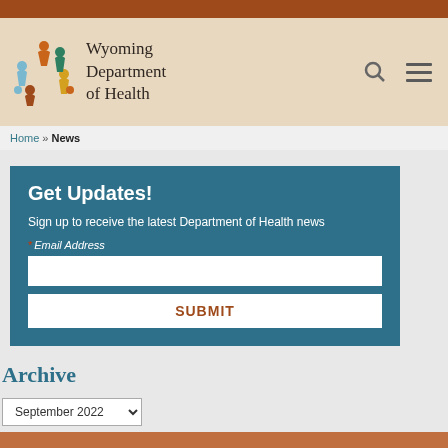[Figure (logo): Wyoming Department of Health logo with colorful figures arranged in a circle and text 'Wyoming Department of Health']
Home » News
Get Updates!
Sign up to receive the latest Department of Health news
* Email Address
Archive
September 2022